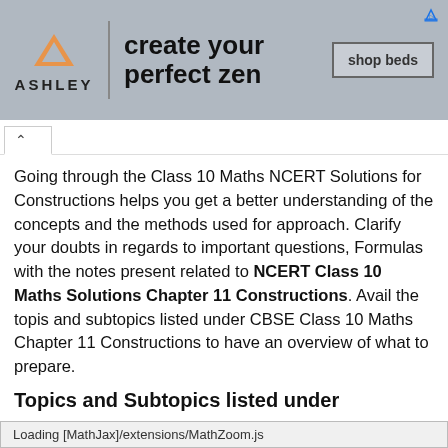[Figure (other): Ashley Furniture advertisement banner with logo, tagline 'create your perfect zen', and 'shop beds' button]
Going through the Class 10 Maths NCERT Solutions for Constructions helps you get a better understanding of the concepts and the methods used for approach. Clarify your doubts in regards to important questions, Formulas with the notes present related to NCERT Class 10 Maths Solutions Chapter 11 Constructions. Avail the topis and subtopics listed under CBSE Class 10 Maths Chapter 11 Constructions to have an overview of what to prepare.
Topics and Subtopics listed under
Loading [MathJax]/extensions/MathZoom.js